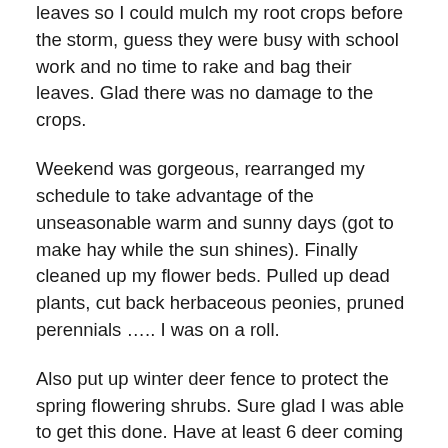leaves so I could mulch my root crops before the storm, guess they were busy with school work and no time to rake and bag their leaves. Glad there was no damage to the crops.
Weekend was gorgeous, rearranged my schedule to take advantage of the unseasonable warm and sunny days (got to make hay while the sun shines). Finally cleaned up my flower beds. Pulled up dead plants, cut back herbaceous peonies, pruned perennials ….. I was on a roll.
Also put up winter deer fence to protect the spring flowering shrubs. Sure glad I was able to get this done. Have at least 6 deer coming through twice daily. Not at all bashful, march right up to the front door. The younger generations are not selective, they eat everything in sight. Wonder if they get tummy ache from eating the wrong plant😊😊😊